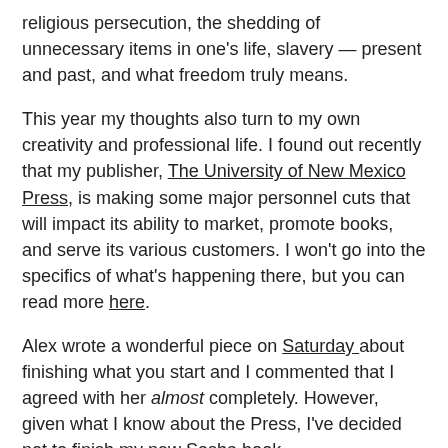religious persecution, the shedding of unnecessary items in one's life, slavery — present and past, and what freedom truly means.
This year my thoughts also turn to my own creativity and professional life. I found out recently that my publisher, The University of New Mexico Press, is making some major personnel cuts that will impact its ability to market, promote books, and serve its various customers. I won't go into the specifics of what's happening there, but you can read more here.
Alex wrote a wonderful piece on Saturday about finishing what you start and I commented that I agreed with her almost completely. However, given what I know about the Press, I've decided not to finish my new Sasha book.
And, boy, does it hurt.
The truth is that writing takes time for me. I can slam out a rough draft in a matter of months and end up with a nice blob of text